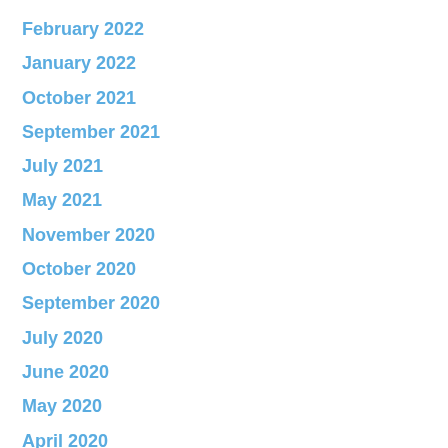February 2022
January 2022
October 2021
September 2021
July 2021
May 2021
November 2020
October 2020
September 2020
July 2020
June 2020
May 2020
April 2020
February 2020
January 2020